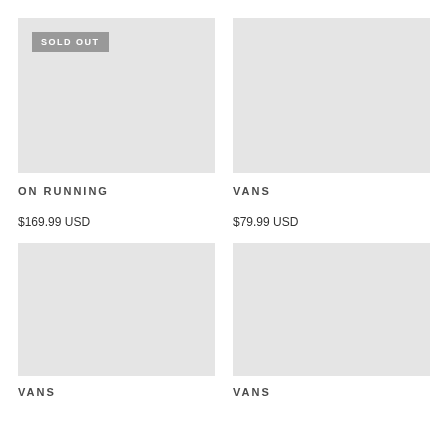[Figure (photo): Product image placeholder (light gray rectangle) with SOLD OUT badge for On Running product]
[Figure (photo): Product image placeholder (light gray rectangle) for Vans product]
ON RUNNING
VANS
$169.99 USD
$79.99 USD
[Figure (photo): Product image placeholder (light gray rectangle) for Vans product]
[Figure (photo): Product image placeholder (light gray rectangle) for Vans product]
VANS
VANS